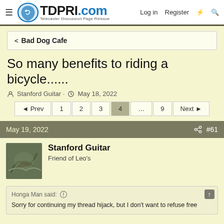TDPRI.com — Telecaster Discussion Page Reissue | Log in | Register
< Bad Dog Cafe
So many benefits to riding a bicycle......
Stanford Guitar · May 18, 2022
Prev 1 2 3 4 ... 9 Next
May 19, 2022  #61
Stanford Guitar
Friend of Leo's
Honga Man said:  Sorry for continuing my thread hijack, but I don't want to refuse free